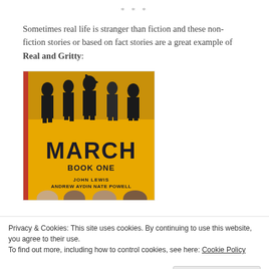* * *
Sometimes real life is stranger than fiction and these non-fiction stories or based on fact stories are a great example of Real and Gritty:
[Figure (photo): Book cover of 'March Book One' by John Lewis, Andrew Aydin, and Nate Powell. Yellow background with silhouetted marchers at top and large bold text reading MARCH BOOK ONE.]
Privacy & Cookies: This site uses cookies. By continuing to use this website, you agree to their use. To find out more, including how to control cookies, see here: Cookie Policy
Close and accept
The March trilogy is a perfect example of how graphic novels...